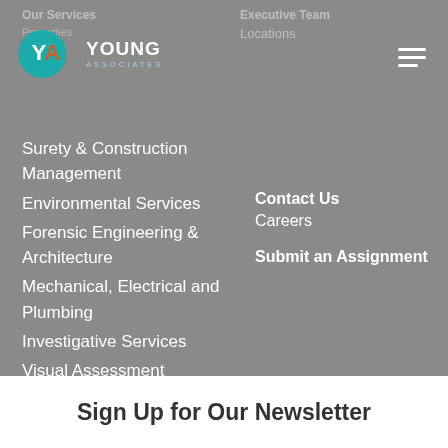Our Services
Properties
Executive Team
Locations
[Figure (logo): Young Associates logo with teal circular YA emblem and white YOUNG ASSOCIATES text]
Surety & Construction Management
Environmental Services
Forensic Engineering & Architecture
Mechanical, Electrical and Plumbing
Investigative Services
Visual Assessment Technologies
Equipment Group
Contact Us
Careers
Submit an Assignment
Sign Up for Our Newsletter